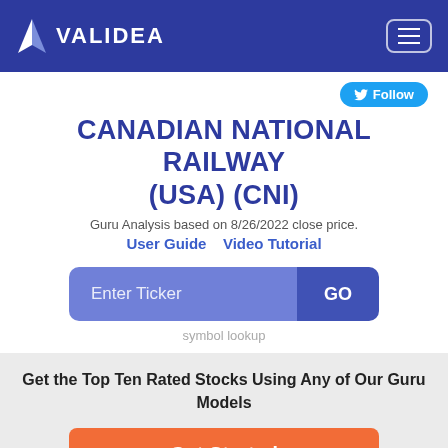VALIDEA
CANADIAN NATIONAL RAILWAY (USA) (CNI)
Guru Analysis based on 8/26/2022 close price.
User Guide   Video Tutorial
Enter Ticker  GO
symbol lookup
Get the Top Ten Rated Stocks Using Any of Our Guru Models
Get Started